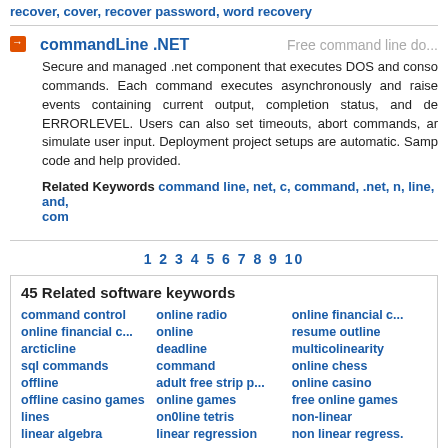recover, cover, recover password, word recovery
commandLine .NET
Free command line do...
Secure and managed .net component that executes DOS and conso commands. Each command executes asynchronously and raise events containing current output, completion status, and de ERRORLEVEL. Users can also set timeouts, abort commands, ar simulate user input. Deployment project setups are automatic. Samp code and help provided.
Related Keywords command line, net, c, command, .net, n, line, and, com
1 2 3 4 5 6 7 8 9 10
45 Related software keywords
command control
online radio
online financial c...
online financial c...
online
resume outline
arcticline
deadline
multicolinearity
sql commands
command
online chess
offline
adult free strip p...
online casino
offline casino games
online games
free online games
lines
on0line tetris
non-linear
linear algebra
linear regression
non linear regress...